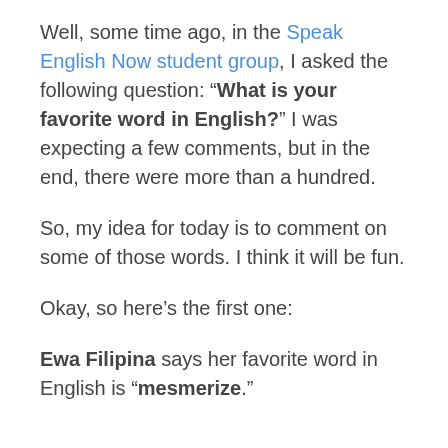Well, some time ago, in the Speak English Now student group, I asked the following question: “What is your favorite word in English?” I was expecting a few comments, but in the end, there were more than a hundred.
So, my idea for today is to comment on some of those words. I think it will be fun.
Okay, so here’s the first one:
Ewa Filipina says her favorite word in English is “mesmerize.”